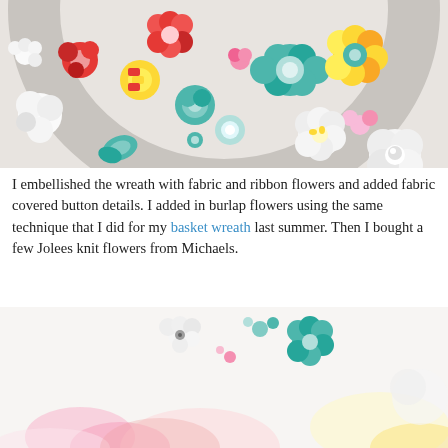[Figure (photo): Close-up photo of a decorative fabric flower wreath with colorful red, yellow, teal/mint, pink, and white fabric and ribbon flowers, burlap flowers, and fabric-covered button accents on a white background.]
I embellished the wreath with fabric and ribbon flowers and added fabric covered button details. I added in burlap flowers using the same technique that I did for my basket wreath last summer. Then I bought a few Jolees knit flowers from Michaels.
[Figure (photo): Close-up photo of fabric and ribbon flowers (teal/mint, white, pink) arranged on a wreath form against a white background, showing detail of individual flower embellishments.]